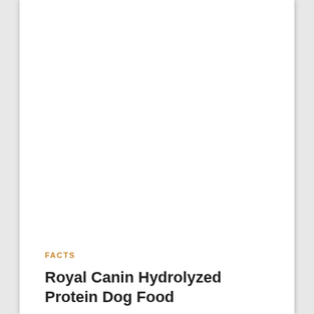FACTS
Royal Canin Hydrolyzed Protein Dog Food